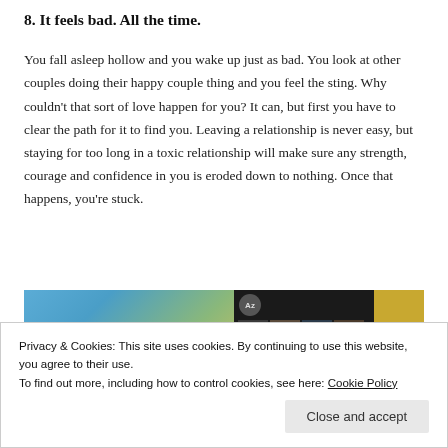8. It feels bad. All the time.
You fall asleep hollow and you wake up just as bad. You look at other couples doing their happy couple thing and you feel the sting. Why couldn’t that sort of love happen for you? It can, but first you have to clear the path for it to find you. Leaving a relationship is never easy, but staying for too long in a toxic relationship will make sure any strength, courage and confidence in you is eroded down to nothing. Once that happens, you’re stuck.
[Figure (screenshot): Partial screenshot showing two image panels: a gradient blue-green-yellow image on the left and a dark photo editing interface on the right with thumbnails and a golden/yellow element at the far right edge.]
Privacy & Cookies: This site uses cookies. By continuing to use this website, you agree to their use.
To find out more, including how to control cookies, see here: Cookie Policy
Close and accept